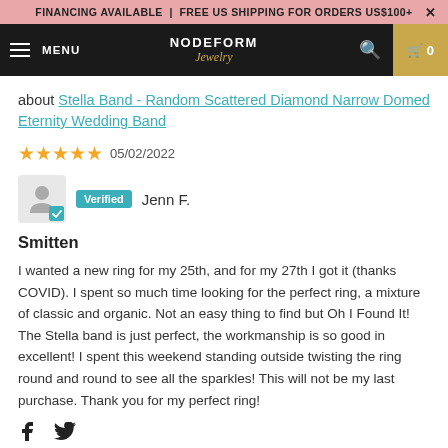FINANCING AVAILABLE | FREE US SHIPPING FOR ORDERS US$100+
MENU | NODEFORM Jewelry | 0
about Stella Band - Random Scattered Diamond Narrow Domed Eternity Wedding Band
★★★★★ 05/02/2022
Verified Jenn F.
Smitten
I wanted a new ring for my 25th, and for my 27th I got it (thanks COVID). I spent so much time looking for the perfect ring, a mixture of classic and organic. Not an easy thing to find but Oh I Found It! The Stella band is just perfect, the workmanship is so good in excellent! I spent this weekend standing outside twisting the ring round and round to see all the sparkles! This will not be my last purchase. Thank you for my perfect ring!
[Figure (other): Facebook and Twitter share icons]